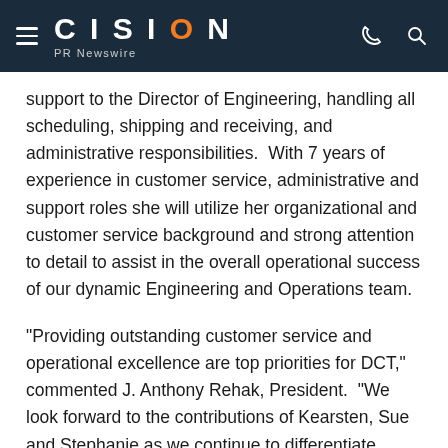CISION PR Newswire
support to the Director of Engineering, handling all scheduling, shipping and receiving, and administrative responsibilities. With 7 years of experience in customer service, administrative and support roles she will utilize her organizational and customer service background and strong attention to detail to assist in the overall operational success of our dynamic Engineering and Operations team.
"Providing outstanding customer service and operational excellence are top priorities for DCT," commented J. Anthony Rehak, President. "We look forward to the contributions of Kearsten, Sue and Stephanie as we continue to differentiate ourselves as